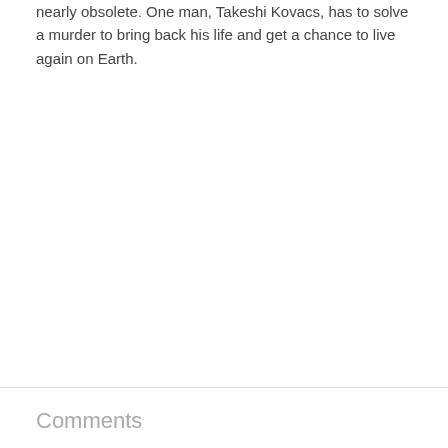nearly obsolete. One man, Takeshi Kovacs, has to solve a murder to bring back his life and get a chance to live again on Earth.
Comments